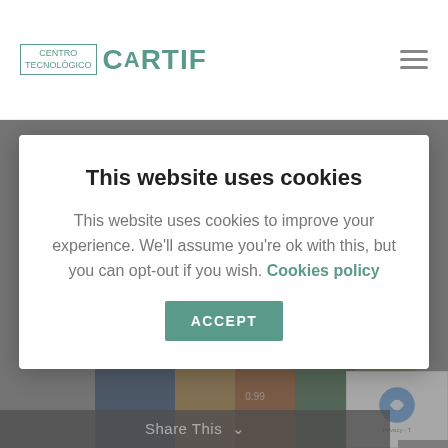Centro Tecnológico CARTIF
This website uses cookies
This website uses cookies to improve your experience. We'll assume you're ok with this, but you can opt-out if you wish. Cookies policy
[Figure (screenshot): ACCEPT button for cookie consent]
[Figure (photo): Market/grocery store interior with colorful produce and price signs]
Share This